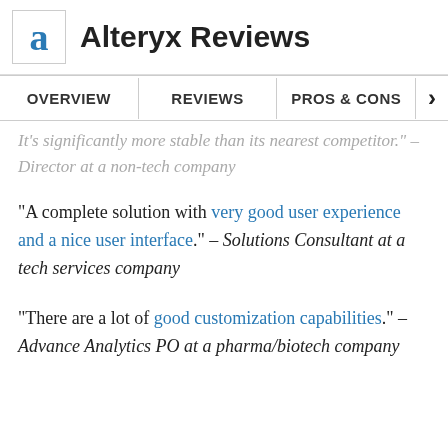Alteryx Reviews
OVERVIEW | REVIEWS | PROS & CONS
It's significantly more stable than its nearest competitor." – Director at a non-tech company
"A complete solution with very good user experience and a nice user interface." – Solutions Consultant at a tech services company
"There are a lot of good customization capabilities." – Advance Analytics PO at a pharma/biotech company